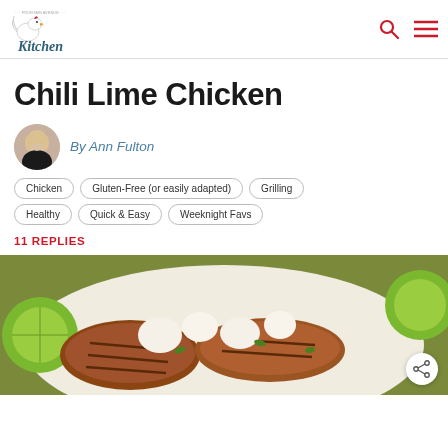Fountain Avenue Kitchen
Chili Lime Chicken
By Ann Fulton
Chicken
Gluten-Free (or easily adapted)
Grilling
Healthy
Quick & Easy
Weeknight Favs
11 REPLIES
[Figure (photo): Grilled chili lime chicken pieces with cream sauce and lime garnish on a plate]